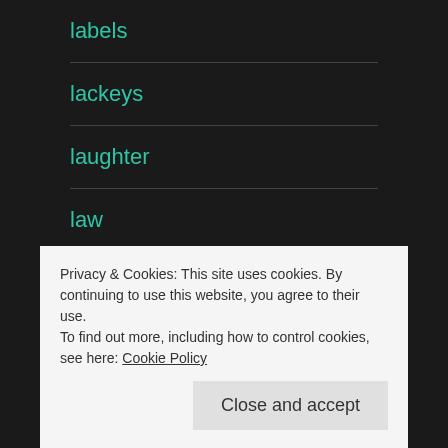labels
lackeys
laughter
law
Law of Attraction
Learned Helplessness
Privacy & Cookies: This site uses cookies. By continuing to use this website, you agree to their use.
To find out more, including how to control cookies, see here: Cookie Policy
Close and accept